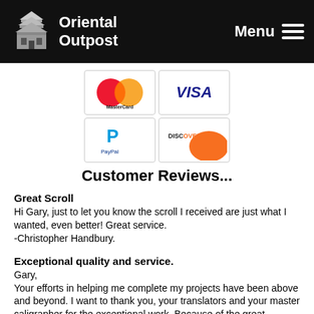Oriental Outpost | Menu
[Figure (logo): Payment icons: MasterCard, VISA, PayPal, Discover]
Customer Reviews...
Great Scroll
Hi Gary, just to let you know the scroll I received are just what I wanted, even better! Great service.
-Christopher Handbury.
Exceptional quality and service.
Gary,
Your efforts in helping me complete my projects have been above and beyond. I want to thank you, your translators and your master caligrapher for the exceptional work. Because of the great experience I even bought 3 paintings (it's costing me a fortune in framing but the result will be worth it). I look forward to doing business with you again.
-Dennis P Breene MD
Better than what I expected!
This is amazing. I got my two custom wall scrolls, inner peace and